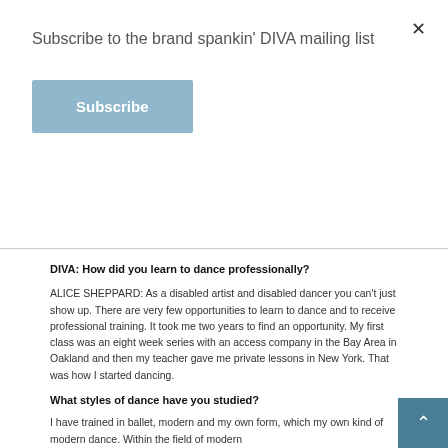Subscribe to the brand spankin' DIVA mailing list
Subscribe
DIVA: How did you learn to dance professionally?
ALICE SHEPPARD: As a disabled artist and disabled dancer you can't just show up. There are very few opportunities to learn to dance and to receive professional training. It took me two years to find an opportunity. My first class was an eight week series with an access company in the Bay Area in Oakland and then my teacher gave me private lessons in New York. That was how I started dancing.
What styles of dance have you studied?
I have trained in ballet, modern and my own form, which my own kind of modern dance. Within the field of modern